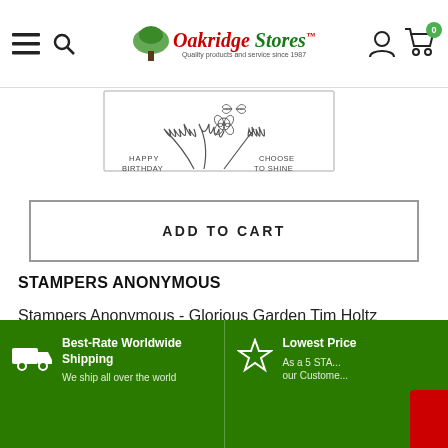Oakridge Stores — Quality products and service since 1987
[Figure (illustration): Botanical stamp illustration showing ferns and flowers with text HAPPY BIRTHDAY and CHOOSE TO SHINE]
ADD TO CART
STAMPERS ANONYMOUS
Stampers Anonymous - Glorious Garden Tim Holtz Cling Stamps
ADD TO CART
Best-Rate Worldwide Shipping — We ship all over the world
Lowest Price — As a 5 STAR... our Customer...
Clearance Sale